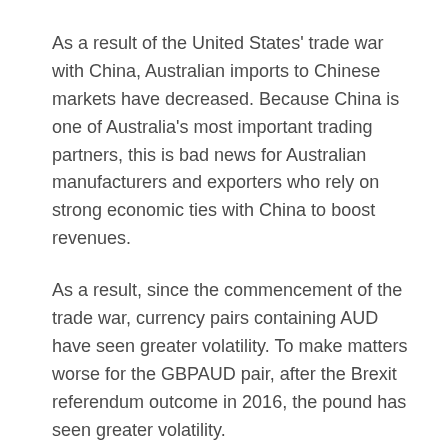As a result of the United States' trade war with China, Australian imports to Chinese markets have decreased. Because China is one of Australia's most important trading partners, this is bad news for Australian manufacturers and exporters who rely on strong economic ties with China to boost revenues.
As a result, since the commencement of the trade war, currency pairs containing AUD have seen greater volatility. To make matters worse for the GBPAUD pair, after the Brexit referendum outcome in 2016, the pound has seen greater volatility.
CADJPY
This pair is quite volatile and is heavily influenced by market movements. Oil prices have a big impact on the